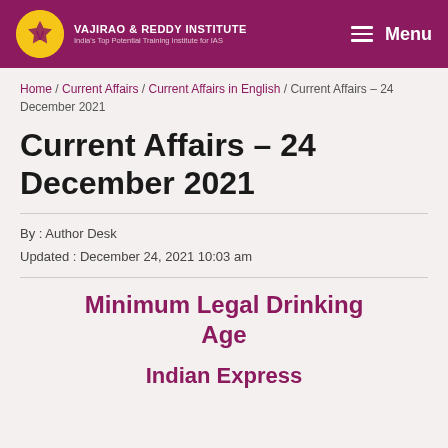VAJIRAO & REDDY INSTITUTE
India's Top Potential Training Institute for IAS
Home / Current Affairs / Current Affairs in English / Current Affairs – 24 December 2021
Current Affairs – 24 December 2021
By : Author Desk
Updated : December 24, 2021 10:03 am
Minimum Legal Drinking Age
Indian Express